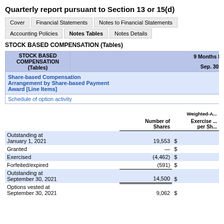Quarterly report pursuant to Section 13 or 15(d)
Cover | Financial Statements | Notes to Financial Statements | Accounting Policies | Notes Tables | Notes Details
STOCK BASED COMPENSATION (Tables)
| STOCK BASED COMPENSATION (Tables) | 9 Months E... Sep. 30, ... |
| --- | --- |
| Share-based Compensation Arrangement by Share-based Payment Award [Line Items] |  |
| Schedule of option activity |  |
|  | Number of Shares | Weighted-A... Exercise ... per Sh... |
| --- | --- | --- |
| Outstanding at January 1, 2021 | 19,553 | $ |
| Granted | — | $ |
| Exercised | (4,462) | $ |
| Forfeited/expired | (591) | $ |
| Outstanding at September 30, 2021 | 14,500 | $ |
| Options vested at September 30, 2021 | 9,062 | $ |